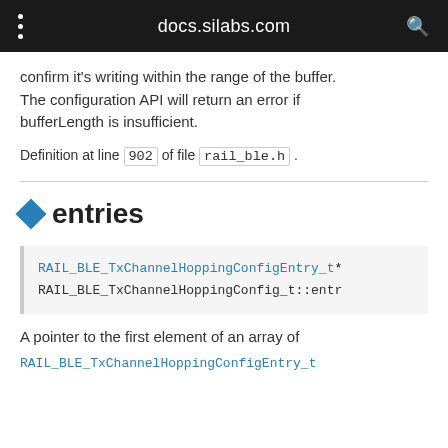docs.silabs.com
confirm it's writing within the range of the buffer. The configuration API will return an error if bufferLength is insufficient.
Definition at line 902 of file rail_ble.h .
entries
RAIL_BLE_TxChannelHoppingConfigEntry_t* RAIL_BLE_TxChannelHoppingConfig_t::entries
A pointer to the first element of an array of RAIL_BLE_TxChannelHoppingConfigEntry_t